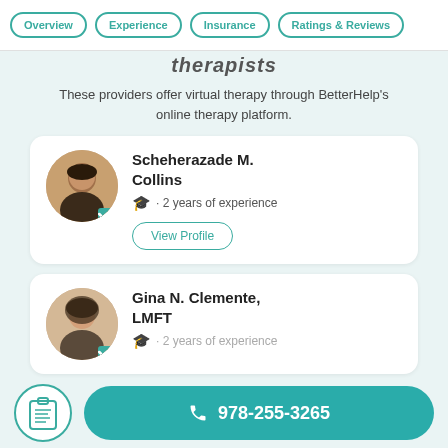Overview | Experience | Insurance | Ratings & Reviews
therapists
These providers offer virtual therapy through BetterHelp's online therapy platform.
Scheherazade M. Collins · 2 years of experience
Gina N. Clemente, LMFT · 2 years of experience
978-255-3265